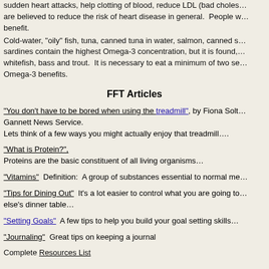fatty acids. Omega-3 fatty acids are highly polyunsaturated fatty acids. They can prevent sudden heart attacks, help clotting of blood, reduce LDL (bad cholesterol) levels and are believed to reduce the risk of heart disease in general. People with diabetes may benefit.
Cold-water, "oily" fish, tuna, canned tuna in water, salmon, canned salmon and sardines contain the highest Omega-3 concentration, but it is found, also in pike, whitefish, bass and trout. It is necessary to eat a minimum of two servings to get Omega-3 benefits.
FFT Articles
"You don't have to be bored when using the treadmill", by Fiona Solto, Gannett News Service. Lets think of a few ways you might actually enjoy that treadmill….
"What is Protein?", Proteins are the basic constituent of all living organisms…
"Vitamins" Definition: A group of substances essential to normal me…
"Tips for Dining Out" It's a lot easier to control what you are going to eat at home than at someone else's dinner table…
"Setting Goals" A few tips to help you build your goal setting skills…
"Journaling" Great tips on keeping a journal
Complete Resources List